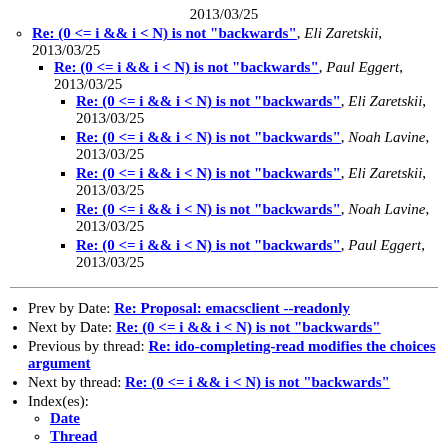Re: (0 <= i && i < N) is not "backwards", Eli Zaretskii, 2013/03/25
Re: (0 <= i && i < N) is not "backwards", Paul Eggert, 2013/03/25
Re: (0 <= i && i < N) is not "backwards", Eli Zaretskii, 2013/03/25
Re: (0 <= i && i < N) is not "backwards", Noah Lavine, 2013/03/25
Re: (0 <= i && i < N) is not "backwards", Eli Zaretskii, 2013/03/25
Re: (0 <= i && i < N) is not "backwards", Noah Lavine, 2013/03/25
Re: (0 <= i && i < N) is not "backwards", Paul Eggert, 2013/03/25
Prev by Date: Re: Proposal: emacsclient --readonly
Next by Date: Re: (0 <= i && i < N) is not "backwards"
Previous by thread: Re: ido-completing-read modifies the choices argument
Next by thread: Re: (0 <= i && i < N) is not "backwards"
Index(es):
Date
Thread